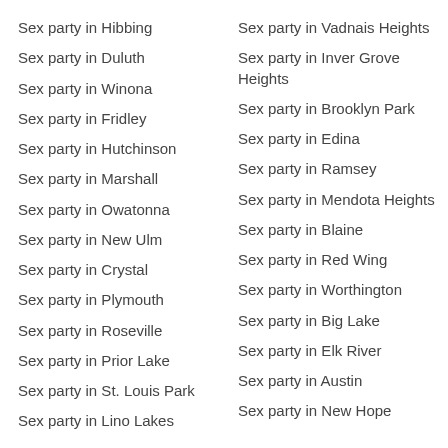Sex party in Hibbing
Sex party in Duluth
Sex party in Winona
Sex party in Fridley
Sex party in Hutchinson
Sex party in Marshall
Sex party in Owatonna
Sex party in New Ulm
Sex party in Crystal
Sex party in Plymouth
Sex party in Roseville
Sex party in Prior Lake
Sex party in St. Louis Park
Sex party in Lino Lakes
Sex party in Vadnais Heights
Sex party in Inver Grove Heights
Sex party in Brooklyn Park
Sex party in Edina
Sex party in Ramsey
Sex party in Mendota Heights
Sex party in Blaine
Sex party in Red Wing
Sex party in Worthington
Sex party in Big Lake
Sex party in Elk River
Sex party in Austin
Sex party in New Hope